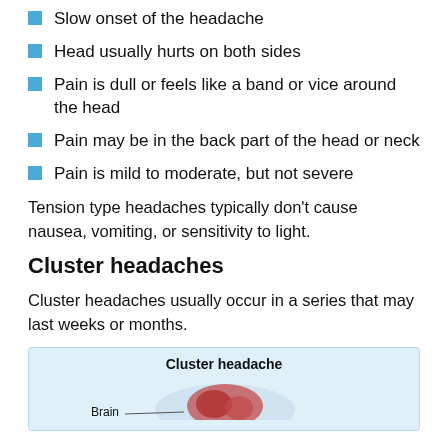Slow onset of the headache
Head usually hurts on both sides
Pain is dull or feels like a band or vice around the head
Pain may be in the back part of the head or neck
Pain is mild to moderate, but not severe
Tension type headaches typically don't cause nausea, vomiting, or sensitivity to light.
Cluster headaches
Cluster headaches usually occur in a series that may last weeks or months.
[Figure (illustration): Illustration of a cluster headache showing the brain with label 'Brain' and title 'Cluster headache']